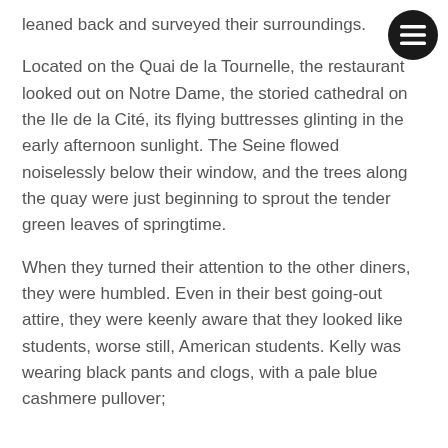leaned back and surveyed their surroundings.
[Figure (illustration): Black circular menu/hamburger button icon in top right corner]
Located on the Quai de la Tournelle, the restaurant looked out on Notre Dame, the storied cathedral on the Ile de la Cité, its flying buttresses glinting in the early afternoon sunlight. The Seine flowed noiselessly below their window, and the trees along the quay were just beginning to sprout the tender green leaves of springtime.
When they turned their attention to the other diners, they were humbled. Even in their best going-out attire, they were keenly aware that they looked like students, worse still, American students. Kelly was wearing black pants and clogs, with a pale blue cashmere pullover;